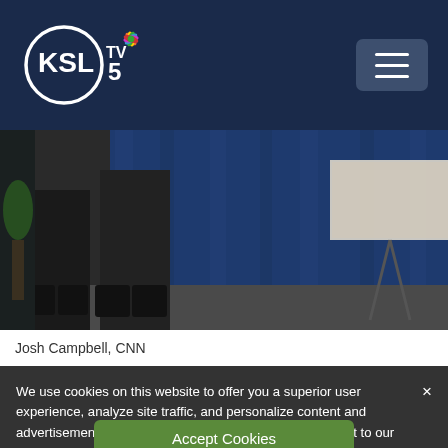KSL TV 5 NBC - navigation header
[Figure (photo): A press conference scene showing people standing, partially cropped at the lower body, with a blue curtain backdrop and a sign/board on an easel in the background.]
Josh Campbell, CNN
We use cookies on this website to offer you a superior user experience, analyze site traffic, and personalize content and advertisements. By continuing to use our site, you consent to our use of cookies. Please visit our Privacy Policy for more information.
Accept Cookies